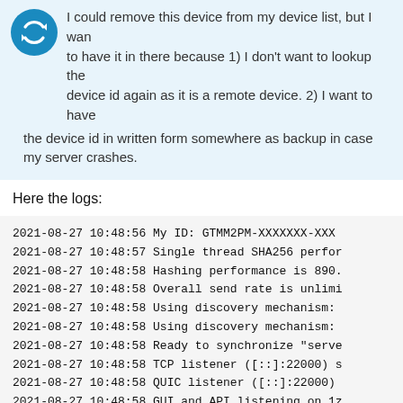I could remove this device from my device list, but I want to have it in there because 1) I don't want to lookup the device id again as it is a remote device. 2) I want to have the device id in written form somewhere as backup in case my server crashes.
Here the logs:
2021-08-27 10:48:56 My ID: GTMM2PM-XXXXXXX-XXX
2021-08-27 10:48:57 Single thread SHA256 perfor
2021-08-27 10:48:58 Hashing performance is 890.
2021-08-27 10:48:58 Overall send rate is unlimi
2021-08-27 10:48:58 Using discovery mechanism:
2021-08-27 10:48:58 Using discovery mechanism:
2021-08-27 10:48:58 Ready to synchronize "serve
2021-08-27 10:48:58 TCP listener ([::]:22000) s
2021-08-27 10:48:58 QUIC listener ([::]:22000)
2021-08-27 10:48:58 GUI and API listening on 1z
2021-08-27 10:48:58 ...
2021-08-27 10:48:58 Access the GUI via the foll
2021-08-27 10:48:58 My name is
2021-08-27 10:48:58 Device SVA
1 / 20